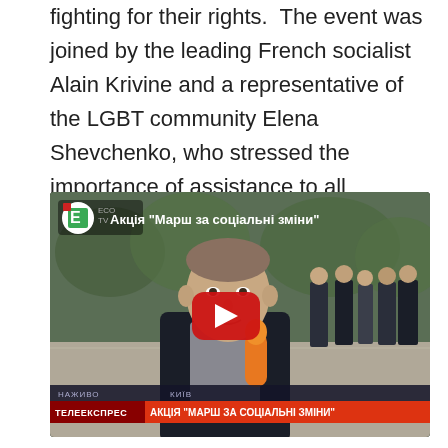fighting for their rights.  The event was joined by the leading French socialist Alain Krivine and a representative of the LGBT community Elena Shevchenko, who stressed the importance of assistance to all suffering from discrimination
[Figure (screenshot): YouTube video thumbnail showing a news broadcast from Eco TV. Title reads: Акція "Марш за соціальні зміни" (Action "March for Social Changes"). A young man is being interviewed outdoors with police officers in the background. Lower thirds show НАЖИВО / КИЇВ and ТЕЛЕЕКСПРЕС / АКЦІЯ "МАРШ ЗА СОЦІАЛЬНІ ЗМІНИ". A red YouTube play button is overlaid in the center.]